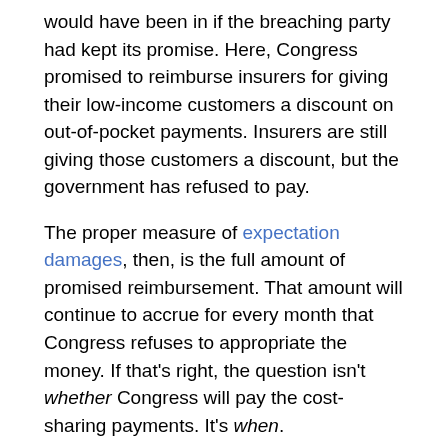would have been in if the breaching party had kept its promise. Here, Congress promised to reimburse insurers for giving their low-income customers a discount on out-of-pocket payments. Insurers are still giving those customers a discount, but the government has refused to pay.
The proper measure of expectation damages, then, is the full amount of promised reimbursement. That amount will continue to accrue for every month that Congress refuses to appropriate the money. If that's right, the question isn't whether Congress will pay the cost-sharing payments. It's when.
But matters may not be so simple. In measuring damages, the Court of Federal Claims will also inquire into mitigation — a principle that might be familiar to you if